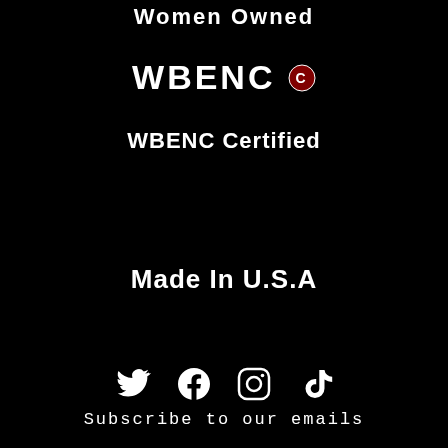Women Owned
[Figure (logo): WBENC logo text with stylized C icon]
WBENC Certified
Made In U.S.A
[Figure (infographic): Social media icons: Twitter, Facebook, Instagram, TikTok]
Subscribe to our emails